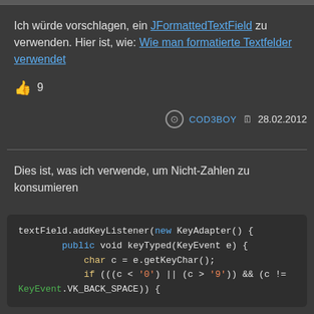Ich würde vorschlagen, ein JFormattedTextField zu verwenden. Hier ist, wie: Wie man formatierte Textfelder verwendet
9
COD3BOY  28.02.2012
Dies ist, was ich verwende, um Nicht-Zahlen zu konsumieren
textField.addKeyListener(new KeyAdapter() {
    public void keyTyped(KeyEvent e) {
        char c = e.getKeyChar();
        if (((c < '0') || (c > '9')) && (c !=
KeyEvent.VK_BACK_SPACE)) {